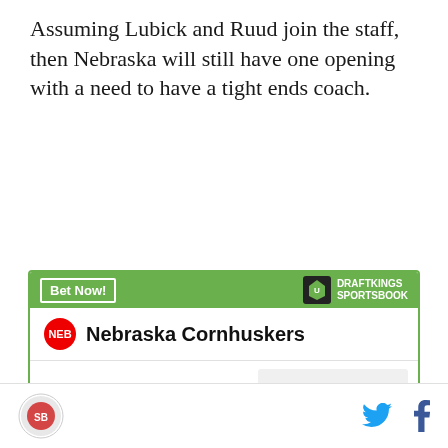Assuming Lubick and Ruud join the staff, then Nebraska will still have one opening with a need to have a tight ends coach.
[Figure (infographic): DraftKings Sportsbook betting widget for Nebraska Cornhuskers showing odds: To win National Championship +35000, To win Big Ten +5500, To win Big Ten West +800]
SB Nation logo with Twitter and Facebook social icons